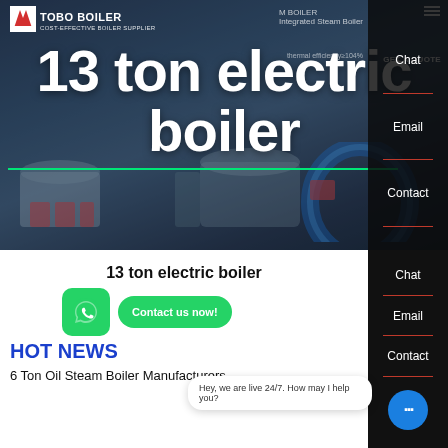[Figure (screenshot): Hero banner showing '13 ton electric boiler' text over an industrial boiler product image with dark blue background]
13 ton electric boiler
[Figure (screenshot): WhatsApp icon button and 'Contact us now!' green button]
HOT NEWS
6 Ton Oil Steam Boiler Manufacturers
Hey, we are live 24/7. How may I help you?